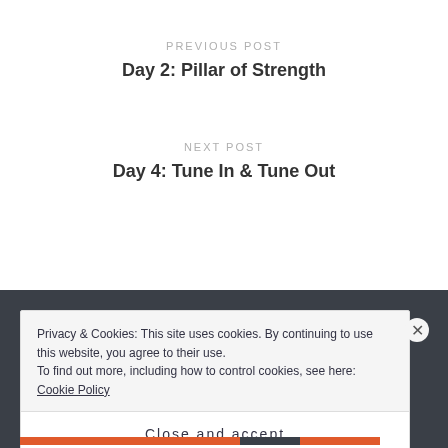PREVIOUS POST
Day 2: Pillar of Strength
NEXT POST
Day 4: Tune In & Tune Out
Privacy & Cookies: This site uses cookies. By continuing to use this website, you agree to their use.
To find out more, including how to control cookies, see here: Cookie Policy
Close and accept